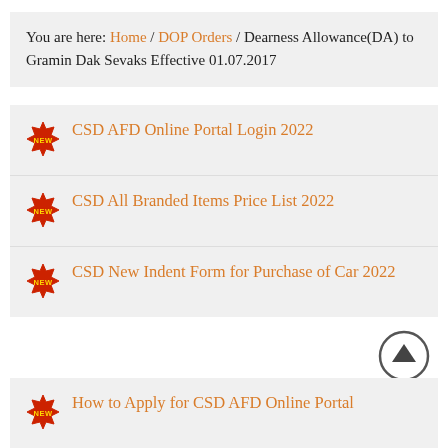You are here: Home / DOP Orders / Dearness Allowance(DA) to Gramin Dak Sevaks Effective 01.07.2017
CSD AFD Online Portal Login 2022
CSD All Branded Items Price List 2022
CSD New Indent Form for Purchase of Car 2022
How to Apply for CSD AFD Online Portal